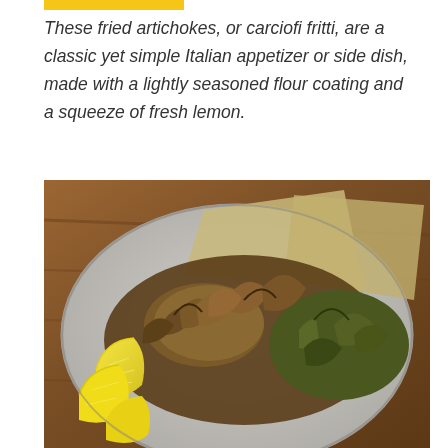These fried artichokes, or carciofi fritti, are a classic yet simple Italian appetizer or side dish, made with a lightly seasoned flour coating and a squeeze of fresh lemon.
[Figure (photo): A close-up photo of fried artichokes (carciofi fritti) served on a light grey plate with lemon wedges, on a wooden surface background.]